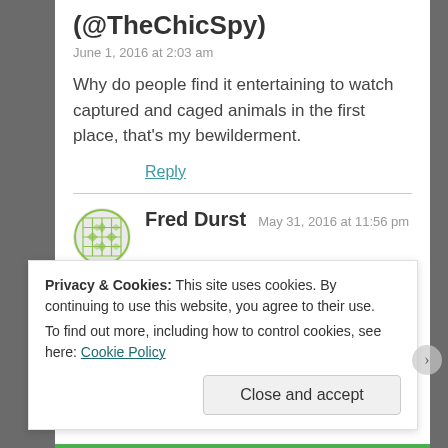(@TheChicSpy)
June 1, 2016 at 2:03 am
Why do people find it entertaining to watch captured and caged animals in the first place, that's my bewilderment.
Reply
Fred Durst  May 31, 2016 at 11:56 pm
I love animals too. They taste great in my burger or
Privacy & Cookies: This site uses cookies. By continuing to use this website, you agree to their use.
To find out more, including how to control cookies, see here: Cookie Policy